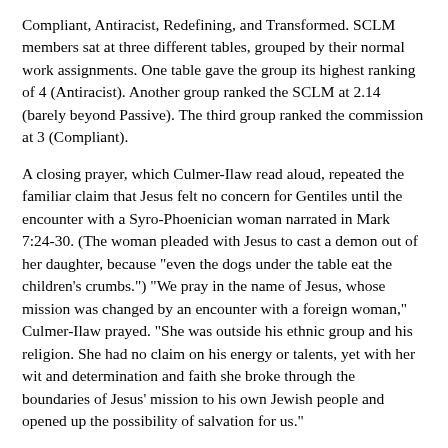Compliant, Antiracist, Redefining, and Transformed. SCLM members sat at three different tables, grouped by their normal work assignments. One table gave the group its highest ranking of 4 (Antiracist). Another group ranked the SCLM at 2.14 (barely beyond Passive). The third group ranked the commission at 3 (Compliant).
A closing prayer, which Culmer-Ilaw read aloud, repeated the familiar claim that Jesus felt no concern for Gentiles until the encounter with a Syro-Phoenician woman narrated in Mark 7:24-30. (The woman pleaded with Jesus to cast a demon out of her daughter, because "even the dogs under the table eat the children's crumbs.") "We pray in the name of Jesus, whose mission was changed by an encounter with a foreign woman," Culmer-Ilaw prayed. "She was outside his ethnic group and his religion. She had no claim on his energy or talents, yet with her wit and determination and faith she broke through the boundaries of Jesus' mission to his own Jewish people and opened up the possibility of salvation for us."
Vetting Future Rites SCLM members' discussion was much freer as they turned to their area of expertise and passion: developing new liturgies as requested by General Convention.
A group coordinated by four SCLM members-the Rev. Devon